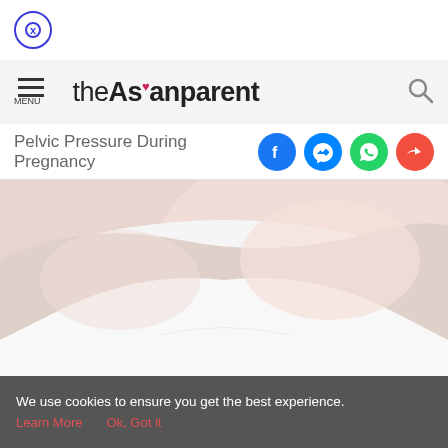[Figure (screenshot): Close/dismiss button with X in a circle, dark blue outline]
theAsianparent — navigation bar with hamburger menu and search icon
Pelvic Pressure During Pregnancy
[Figure (photo): Pregnant woman in white top, cropped torso view, pinkish background]
Tools | Articles | (home/pregnancy icon) | Feed | Poll
We use cookies to ensure you get the best experience.
Learn More   Ok, Got it